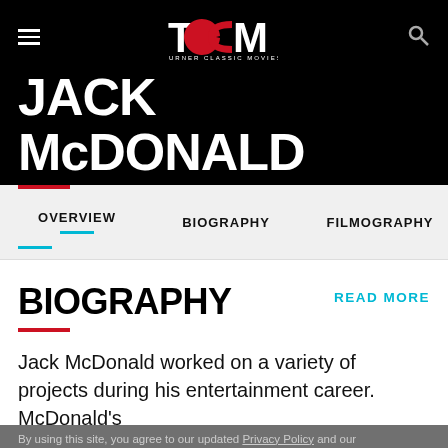[Figure (logo): TCM Turner Classic Movies logo — white T, red C shape, white M — on black background]
JACK MCDONALD
OVERVIEW   BIOGRAPHY   FILMOGRAPHY
BIOGRAPHY
READ MORE
Jack McDonald worked on a variety of projects during his entertainment career. McDonald's